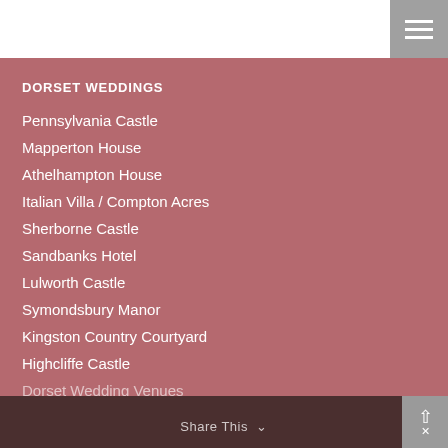DORSET WEDDINGS
Pennsylvania Castle
Mapperton House
Athelhampton House
Italian Villa / Compton Acres
Sherborne Castle
Sandbanks Hotel
Lulworth Castle
Symondsbury Manor
Kingston Country Courtyard
Highcliffe Castle
Dorset Wedding Venues
Top 10 Dorset Wedding Venues
Share This